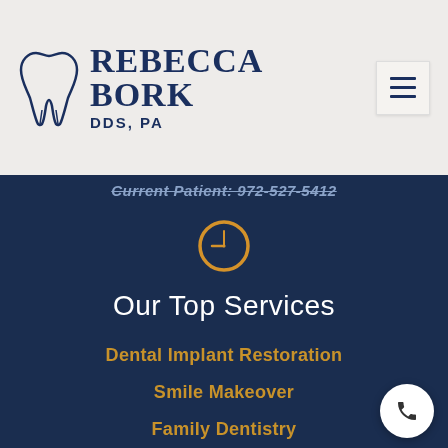[Figure (logo): Rebecca Bork DDS PA dental practice logo with tooth icon and serif text]
Current Patient: 972-527-5412
[Figure (illustration): Orange clock icon circle]
Our Top Services
Dental Implant Restoration
Smile Makeover
Family Dentistry